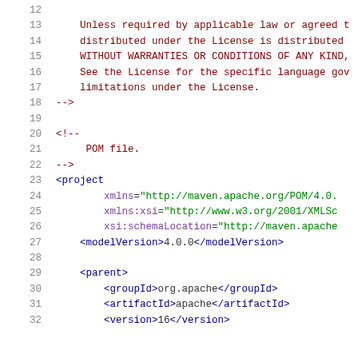Code listing showing XML/POM file content, lines 12-32
12  (blank)
13      Unless required by applicable law or agreed t
14      distributed under the License is distributed
15      WITHOUT WARRANTIES OR CONDITIONS OF ANY KIND,
16      See the License for the specific language gov
17      limitations under the License.
18  -->
19  (blank)
20  <!--
21       POM file.
22  -->
23  <project
24          xmlns="http://maven.apache.org/POM/4.0.
25          xmlns:xsi="http://www.w3.org/2001/XMLSc
26          xsi:schemaLocation="http://maven.apache
27      <modelVersion>4.0.0</modelVersion>
28  (blank)
29      <parent>
30          <groupId>org.apache</groupId>
31          <artifactId>apache</artifactId>
32          <version>16</version>